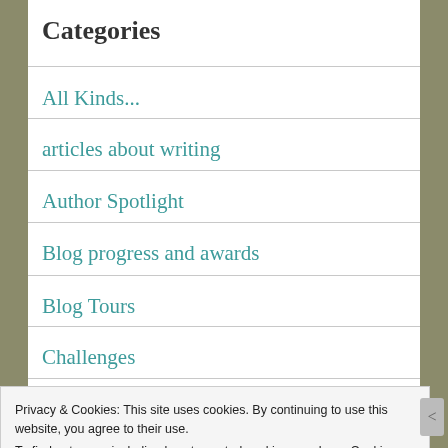Categories
All Kinds...
articles about writing
Author Spotlight
Blog progress and awards
Blog Tours
Challenges
Privacy & Cookies: This site uses cookies. By continuing to use this website, you agree to their use.
To find out more, including how to control cookies, see here: Cookie Policy
Close and accept